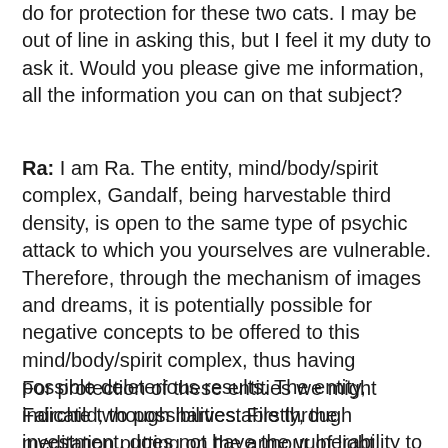do for protection for these two cats. I may be out of line in asking this, but I feel it my duty to ask it. Would you please give me information, all the information you can on that subject?
Ra: I am Ra. The entity, mind/body/spirit complex, Gandalf, being harvestable third density, is open to the same type of psychic attack to which you yourselves are vulnerable. Therefore, through the mechanism of images and dreams, it is potentially possible for negative concepts to be offered to this mind/body/spirit complex, thus having possible deleterious results. The entity, Fairchild, though harvestable through investment, does not have the vulnerability to attack in as great an amount due to a lack of the mind complex activity in the distortion of conscious devotion.
For protection of these entities we might indicate two possibilities. Firstly, the meditation putting on the armour of light. Secondly, the repetition of the lighting the way again and the lighting the way...